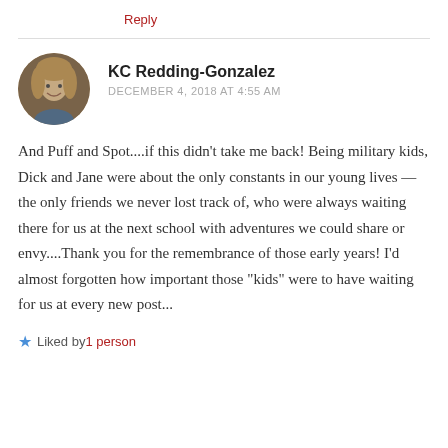Reply
[Figure (photo): Circular avatar photo of a blonde woman smiling]
KC Redding-Gonzalez
DECEMBER 4, 2018 AT 4:55 AM
And Puff and Spot....if this didn't take me back! Being military kids, Dick and Jane were about the only constants in our young lives — the only friends we never lost track of, who were always waiting there for us at the next school with adventures we could share or envy....Thank you for the remembrance of those early years! I'd almost forgotten how important those "kids" were to have waiting for us at every new post...
Liked by 1 person